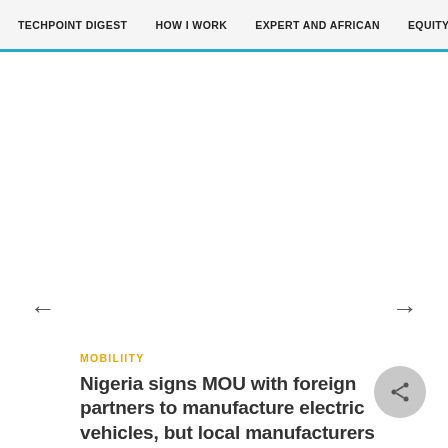TECHPOINT DIGEST   HOW I WORK   EXPERT AND AFRICAN   EQUITY
←
→
MOBILIITY
Nigeria signs MOU with foreign partners to manufacture electric vehicles, but local manufacturers say the country may not be ready for EVs